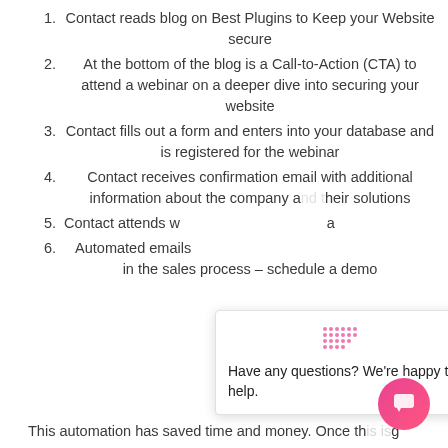Contact reads blog on Best Plugins to Keep your Website secure
At the bottom of the blog is a Call-to-Action (CTA) to attend a webinar on a deeper dive into securing your website
Contact fills out a form and enters into your database and is registered for the webinar
Contact receives confirmation email with additional information about the company and their solutions
Contact attends webinar and...
Automated emails ... in the sales process – schedule a demo
This automation has saved time and money. Once the...